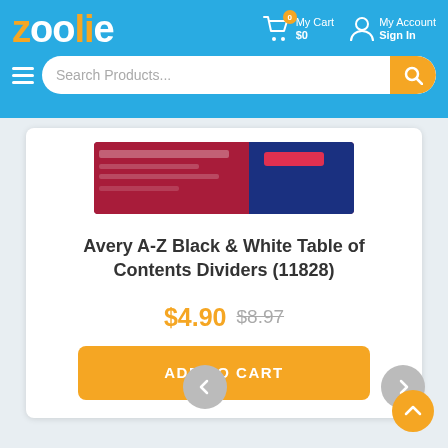zoolie — My Cart $0 | My Account Sign In
[Figure (screenshot): Zoolie e-commerce website header with logo, cart, account, and search bar]
[Figure (photo): Avery A-Z Black & White Table of Contents Dividers product image (11828)]
Avery A-Z Black & White Table of Contents Dividers (11828)
$4.90 $8.97
ADD TO CART